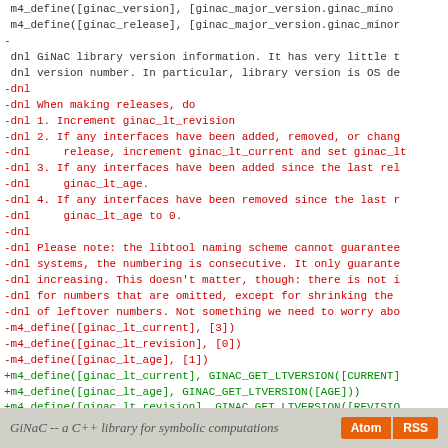Code diff showing GiNaC configure.ac changes including m4_define macros for version, library version info comments, release instructions, and GINAC_GET_LTVERSION macros, plus AC_INIT and AC_PREREQ lines.
GiNaC -- a C++ library for symbolic computations   Atom  RSS